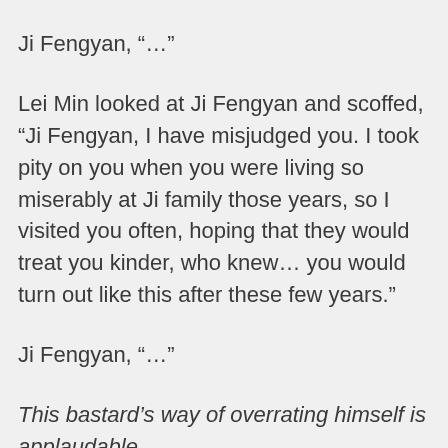Ji Fengyan, “…”
Lei Min looked at Ji Fengyan and scoffed, “Ji Fengyan, I have misjudged you. I took pity on you when you were living so miserably at Ji family those years, so I visited you often, hoping that they would treat you kinder, who knew… you would turn out like this after these few years.”
Ji Fengyan, “…”
This bastard’s way of overrating himself is applaudable.